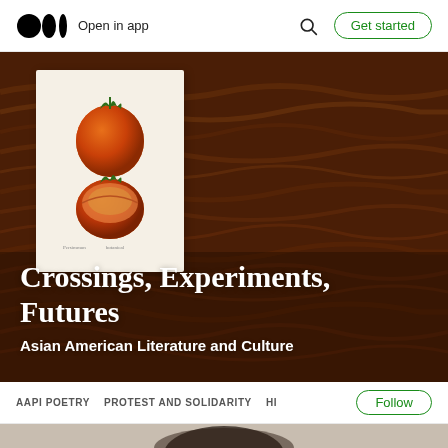Open in app | Get started
[Figure (screenshot): Medium publication header for 'Crossings, Experiments, Futures – Asian American Literature and Culture'. Dark water texture background with an inset botanical illustration card showing two persimmons. Bold white title text overlaid on the lower portion.]
Crossings, Experiments, Futures
Asian American Literature and Culture
AAPI POETRY   PROTEST AND SOLIDARITY   HI
[Figure (photo): Partial view of a person's face/head, cropped at bottom of page]